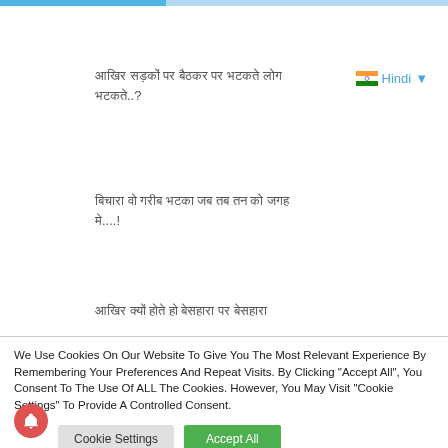Top navigation bar with progress indicator
Hindi text block 1 (question in Hindi script) ..?
Hindi ▼ (language selector)
Hindi text block 2 ....!
Hindi text block 3
We Use Cookies On Our Website To Give You The Most Relevant Experience By Remembering Your Preferences And Repeat Visits. By Clicking "Accept All", You Consent To The Use Of ALL The Cookies. However, You May Visit "Cookie Settings" To Provide A Controlled Consent.